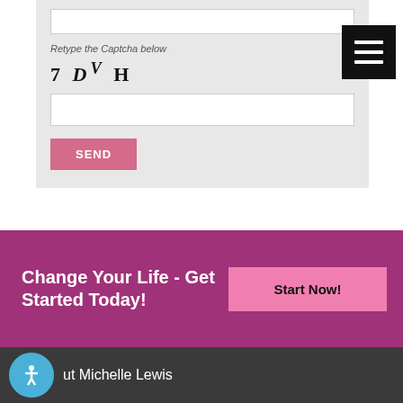[Figure (screenshot): Form area with captcha on light gray background showing input field at top, captcha label 'Retype the Captcha below', captcha text '7 D V H', input field, and SEND button. A black hamburger menu button is in the top right corner.]
Retype the Captcha below
7 D V H
SEND
Change Your Life - Get Started Today!
Start Now!
ut Michelle Lewis